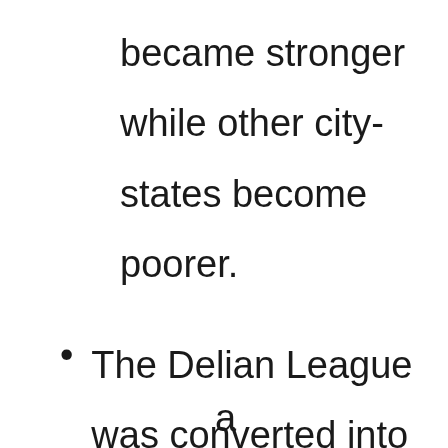became stronger while other city-states become poorer.
The Delian League was converted into
a